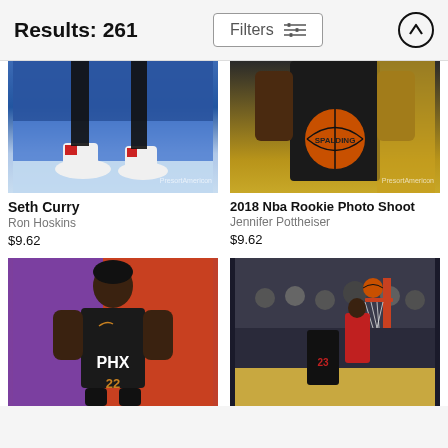Results: 261
Filters
[Figure (photo): Seth Curry basketball photo showing sneakers on court with blue floor]
Seth Curry
Ron Hoskins
$9.62
[Figure (photo): 2018 NBA Rookie Photo Shoot - player holding Spalding basketball]
2018 Nba Rookie Photo Shoot
Jennifer Pottheiser
$9.62
[Figure (photo): Phoenix Suns player #22 in PHX jersey posing against purple and red background]
[Figure (photo): Basketball game action shot with player #23 dunking over defender near basket]